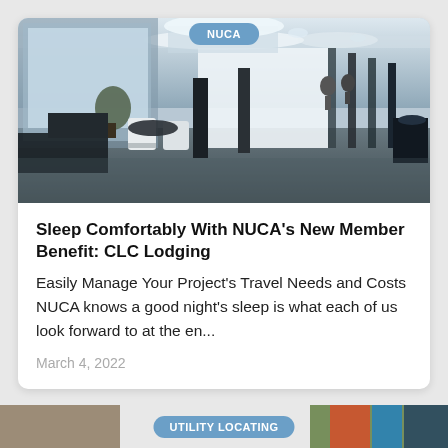[Figure (photo): Interior of a modern hotel lobby or office space with reflective floors, white chairs, dark furniture, and large windows. Black and white/grayscale toned photograph.]
Sleep Comfortably With NUCA's New Member Benefit: CLC Lodging
Easily Manage Your Project's Travel Needs and Costs NUCA knows a good night's sleep is what each of us look forward to at the en...
March 4, 2022